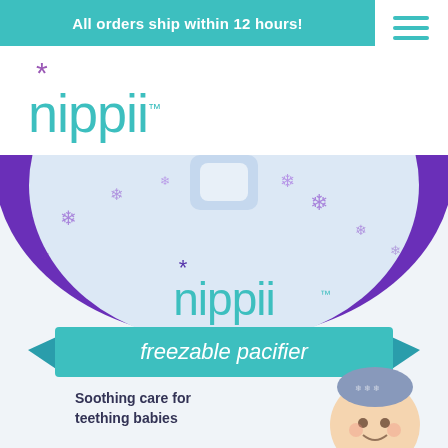All orders ship within 12 hours!
[Figure (logo): Nippii brand logo in teal/turquoise with purple asterisk star above the text, with trademark symbol]
[Figure (photo): Nippii freezable pacifier product package. Purple semicircle background with snowflake pattern and hang tag. White lower section with teal nippii logo and asterisk. Teal ribbon banner reading 'freezable pacifier'. Text says 'Soothing care for teething babies'. Bottom right shows baby with headband.]